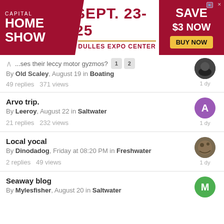[Figure (other): Advertisement banner for Capital Home Show, Sept. 23-25, Dulles Expo Center, Save $3 Now, Buy Now]
...ses their leccy motor gyzmos? | By Old Scaley, August 19 in Boating | 49 replies 371 views | 1 dy
Arvo trip. | By Leeroy, August 22 in Saltwater | 21 replies 232 views | 1 dy
Local yocal | By Dinodadog, Friday at 08:20 PM in Freshwater | 2 replies 49 views | 1 dy
Seaway blog | By Mylesfisher, August 20 in Saltwater